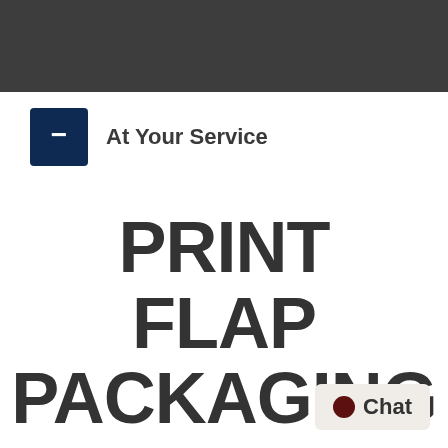At Your Service
PRINT FLAP PACKAGING BOXES